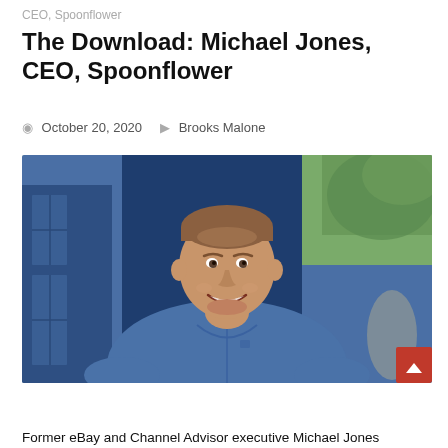CEO, Spoonflower
The Download: Michael Jones, CEO, Spoonflower
October 20, 2020   Brooks Malone
[Figure (photo): Michael Jones, CEO of Spoonflower, smiling man in blue polo shirt standing in front of blue door/wall outdoors]
Former eBay and Channel Advisor executive Michael Jones